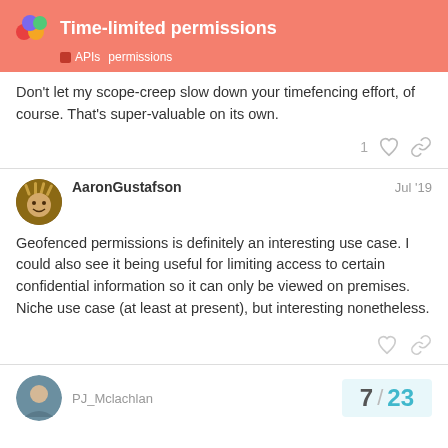Time-limited permissions
APIs  permissions
Don't let my scope-creep slow down your timefencing effort, of course. That's super-valuable on its own.
AaronGustafson  Jul '19
Geofenced permissions is definitely an interesting use case. I could also see it being useful for limiting access to certain confidential information so it can only be viewed on premises. Niche use case (at least at present), but interesting nonetheless.
PJ_Mclachlan
7 / 23